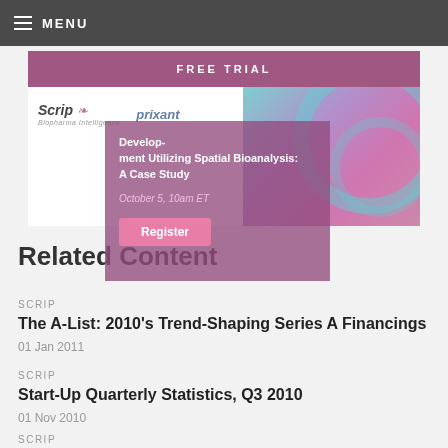MENU
[Figure (screenshot): Promotional overlay: FREE TRIAL bar with Scrip and Prixant logos, purple overlay card titled 'Develop-ment Utilizing Spatial Bioanalysis: A Case Study', date 'October 5, 10am ET', Register button, and DNA helix image background]
Related Content
SCRIP
The A-List: 2010's Trend-Shaping Series A Financings
01 Jan 2011
SCRIP
Start-Up Quarterly Statistics, Q3 2010
01 Nov 2010
SCRIP
Valuing Early-Stage Pharma Deals
01 Oct 2010